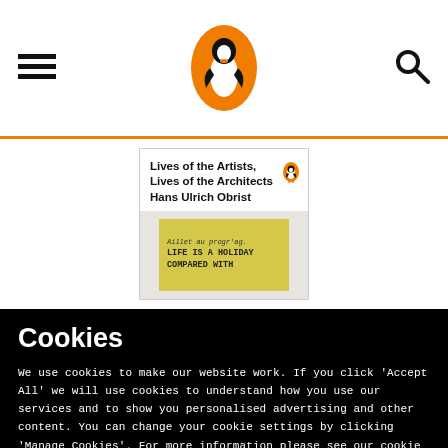Penguin Books header with menu, logo, and search
[Figure (logo): Penguin Books logo: orange oval with white penguin silhouette in center]
[Figure (illustration): Book cover: Lives of the Artists, Lives of the Architects by Hans Ulrich Obrist, with a yellow sticky note reading 'Life is a holiday compared with' written in handwriting]
Cookies
We use cookies to make our website work. If you click 'Accept All' we will use cookies to understand how you use our services and to show you personalised advertising and other content. You can change your cookie settings by clicking 'Manage Cookies'. For more information please see our cookie policy